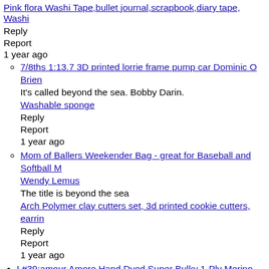Pink flora Washi Tape,bullet journal,scrapbook,diary tape, Washi
Reply
Report
1 year ago
7/8ths 1:13.7 3D printed lorrie frame pump car Dominic O Brien
It's called beyond the sea. Bobby Darin.
Washable sponge
Reply
Report
1 year ago
Mom of Ballers Weekender Bag - great for Baseball and Softball M
Wendy Lemus
The title is beyond the sea
Arch Polymer clay cutters set, 3d printed cookie cutters, earrin
Reply
Report
1 year ago
L#39;amour Amore Hand Dyed Super Bulky 1-Ply Merino Wool Yarn
Eric Olson
Excellent site for getting inspirations to write in a card or